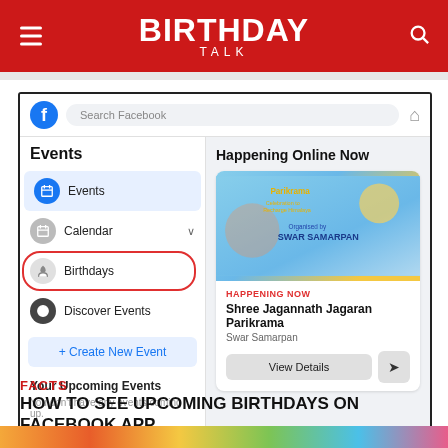BIRTHDAY TALK
[Figure (screenshot): Facebook Events page screenshot showing the left sidebar with Events, Calendar, Birthdays (circled in red), Discover Events, Create New Event, and Your Upcoming Events sections. The right panel shows 'Happening Online Now' with a Shree Jagannath Jagaran Parikrama event by Swar Samarpan.]
FACTS
HOW TO SEE UPCOMING BIRTHDAYS ON FACEBOOK APP